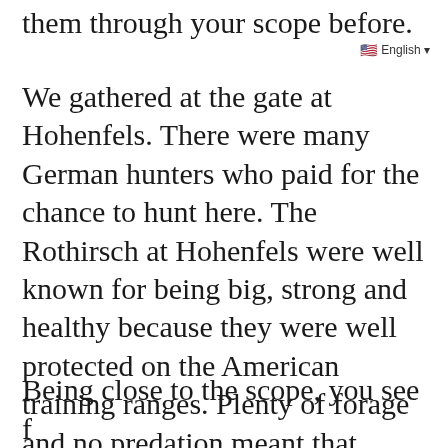them through your scope before.
🇺🇸 English ▾
We gathered at the gate at Hohenfels. There were many German hunters who paid for the chance to hunt here. The Rothirsch at Hohenfels were well known for being big, strong and healthy because they were well protected on the American training ranges. Plenty of forage and no predation meant that hunting was necessary to keep the populations managed.
Being close to the scope, you see f…